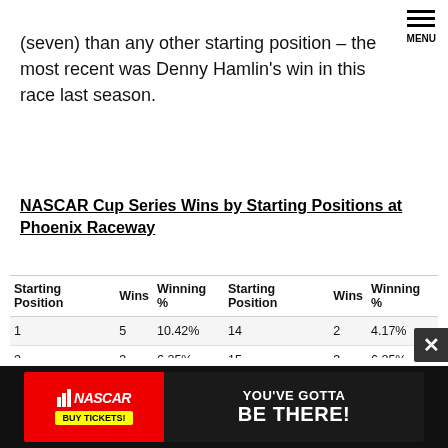MENU
(seven) than any other starting position – the most recent was Denny Hamlin's win in this race last season.
NASCAR Cup Series Wins by Starting Positions at Phoenix Raceway
| Starting Position | Wins | Winning % | Starting Position | Wins | Winning % |
| --- | --- | --- | --- | --- | --- |
| 1 | 5 | 10.42% | 14 | 2 | 4.17% |
| 2 | 3 | 6.25% | 15 | 3 | 6.25% |
| 3 | 7 | 14.58% | 17 | 1 | 2.08% |
| 4 | 2 | 4.17% | 18 | 1 | 2.08% |
| 6 | 3 | 6.25% | 19 | 2 | 4.17% |
[Figure (infographic): NASCAR advertisement banner: NASCAR logo with BUY TICKETS button on red background, text YOU'VE GOTTA BE THERE! on dark background]